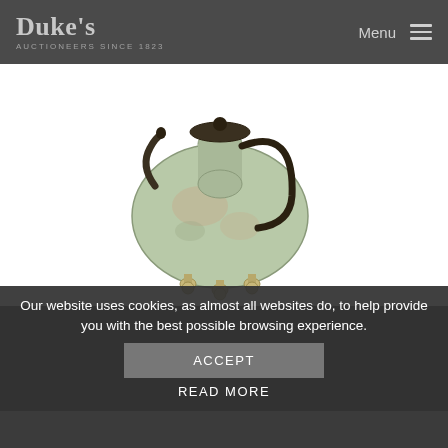Duke's Auctioneers Since 1823 | Menu
[Figure (photo): A large Chinese archaistic bronze wine ewer with a rounded body, long curved spout, curved handle with lid, and raised on three small ball feet. The surface shows green patination.]
Lot 9 [Sold]
LARGE CHINESE ARCHAISTIC BRONZE WINE EWER
Our website uses cookies, as almost all websites do, to help provide you with the best possible browsing experience.
ACCEPT
READ MORE
LARGE CHINESE ARCHAISTIC BRONZE WINE EWER, raised on three feet, 56cm high